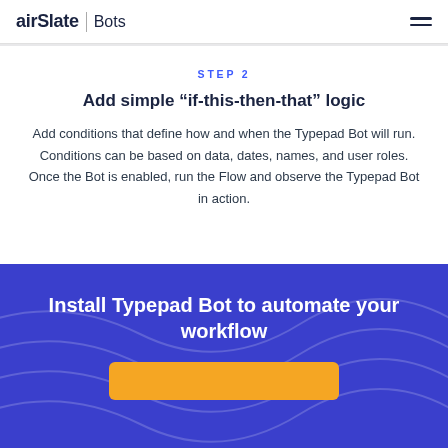airSlate | Bots
STEP 2
Add simple “if-this-then-that” logic
Add conditions that define how and when the Typepad Bot will run. Conditions can be based on data, dates, names, and user roles. Once the Bot is enabled, run the Flow and observe the Typepad Bot in action.
Install Typepad Bot to automate your workflow